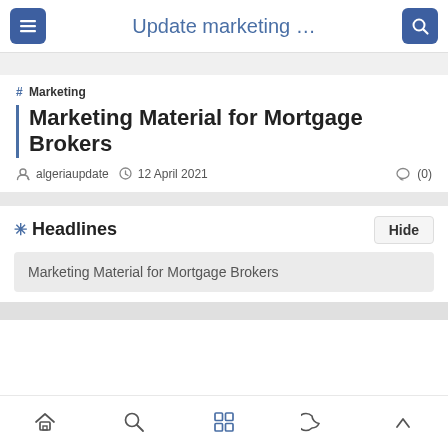Update marketing …
# Marketing
Marketing Material for Mortgage Brokers
algeriaupdate  12 April 2021  (0)
Headlines
Marketing Material for Mortgage Brokers